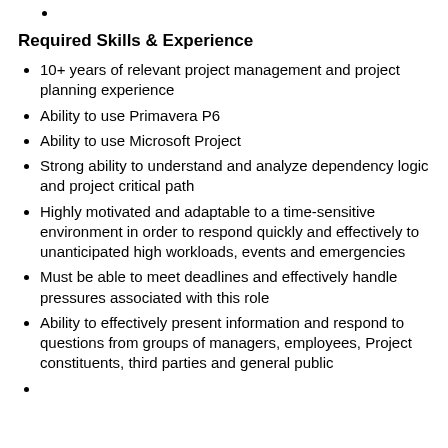Required Skills & Experience
10+ years of relevant project management and project planning experience
Ability to use Primavera P6
Ability to use Microsoft Project
Strong ability to understand and analyze dependency logic and project critical path
Highly motivated and adaptable to a time-sensitive environment in order to respond quickly and effectively to unanticipated high workloads, events and emergencies
Must be able to meet deadlines and effectively handle pressures associated with this role
Ability to effectively present information and respond to questions from groups of managers, employees, Project constituents, third parties and general public